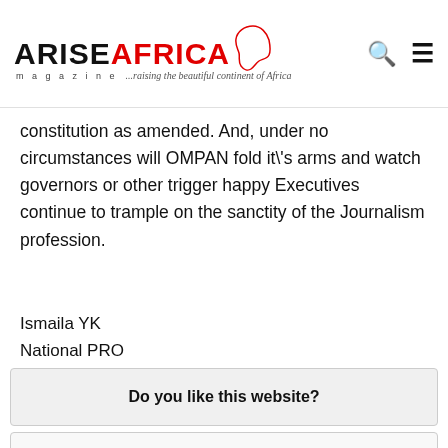ARISEAFRICA magazine ...raising the beautiful continent of Africa
constitution as amended. And, under no circumstances will OMPAN fold it\'s arms and watch governors or other trigger happy Executives continue to trample on the sanctity of the Journalism profession.
Ismaila YK
National PRO
OMPAN
Do you like this website?
Yes